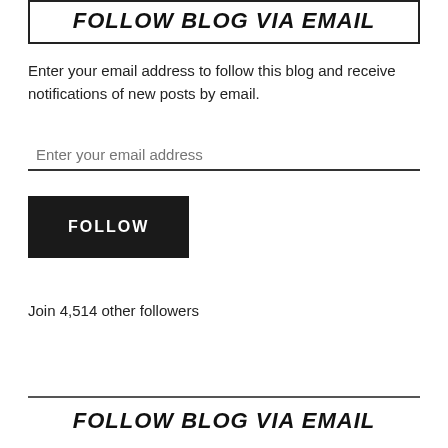FOLLOW BLOG VIA EMAIL
Enter your email address to follow this blog and receive notifications of new posts by email.
Enter your email address
FOLLOW
Join 4,514 other followers
FOLLOW BLOG VIA EMAIL